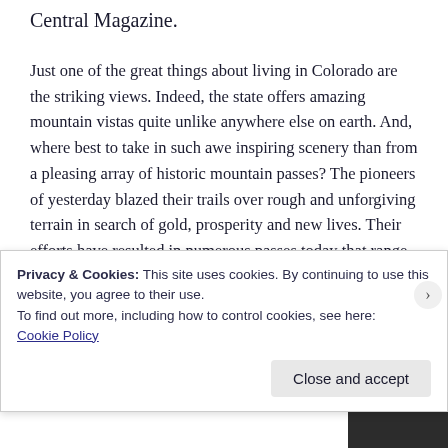Central Magazine.
Just one of the great things about living in Colorado are the striking views. Indeed, the state offers amazing mountain vistas quite unlike anywhere else on earth. And, where best to take in such awe inspiring scenery than from a pleasing array of historic mountain passes? The pioneers of yesterday blazed their trails over rough and unforgiving terrain in search of gold, prosperity and new lives. Their efforts have resulted in numerous passes today that range from smooth and easy to challenging and dangerous. Hagerman Pass falls into the category of
Privacy & Cookies: This site uses cookies. By continuing to use this website, you agree to their use.
To find out more, including how to control cookies, see here:
Cookie Policy
Close and accept